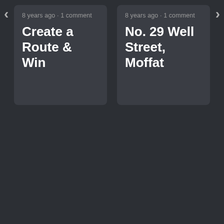8 years ago • 1 comment
Create a Route & Win
8 years ago • 1 comment
No. 29 Well Street, Moffat